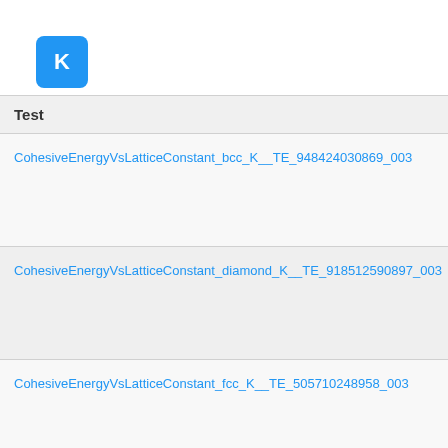[Figure (other): Blue rounded square icon with white letter K]
| Test |
| --- |
| CohesiveEnergyVsLatticeConstant_bcc_K__TE_948424030869_003 |
| CohesiveEnergyVsLatticeConstant_diamond_K__TE_918512590897_003 |
| CohesiveEnergyVsLatticeConstant_fcc_K__TE_505710248958_003 |